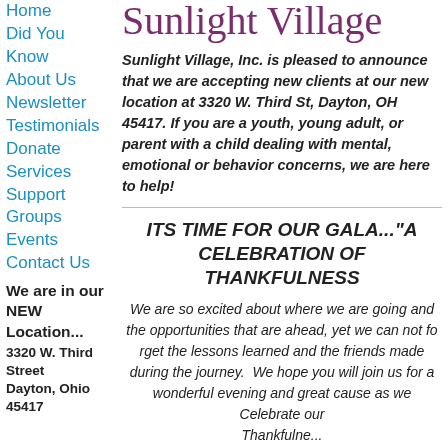Sunlight Village
Home
Did You Know
About Us
Newsletter
Testimonials
Donate
Services
Support
Groups
Events
Contact Us
We are in our NEW Location...
3320 W. Third Street
Dayton, Ohio 45417
Sunlight Village, Inc. is pleased to announce that we are accepting new clients at our new location at 3320 W. Third St, Dayton, OH 45417. If you are a youth, young adult, or parent with a child dealing with mental, emotional or behavior concerns, we are here to help!
ITS TIME FOR OUR GALA..."A CELEBRATION OF THANKFULNESS
We are so excited about where we are going and the opportunities that are ahead, yet we can not forget the lessons learned and the friends made during the journey. We hope you will join us for a wonderful evening and great cause as we Celebrate our Thankfulness...